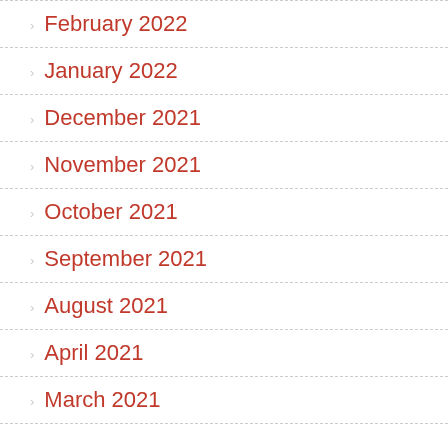February 2022
January 2022
December 2021
November 2021
October 2021
September 2021
August 2021
April 2021
March 2021